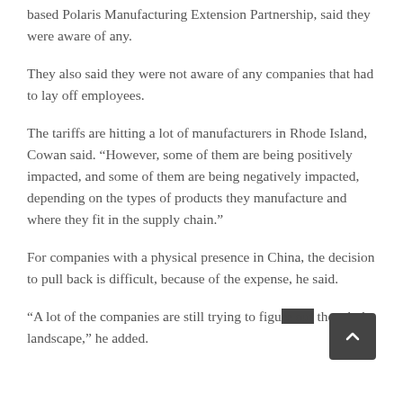based Polaris Manufacturing Extension Partnership, said they were aware of any.
They also said they were not aware of any companies that had to lay off employees.
The tariffs are hitting a lot of manufacturers in Rhode Island, Cowan said. “However, some of them are being positively impacted, and some of them are being negatively impacted, depending on the types of products they manufacture and where they fit in the supply chain.”
For companies with a physical presence in China, the decision to pull back is difficult, because of the expense, he said.
“A lot of the companies are still trying to figure out the whole landscape,” he added.